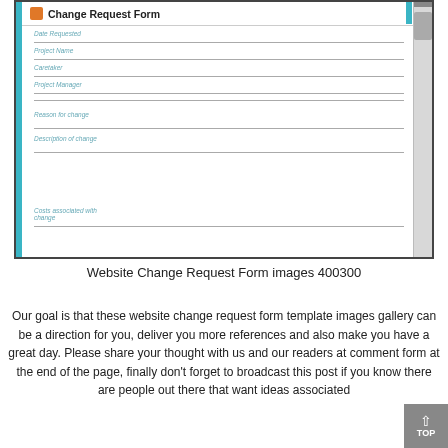[Figure (screenshot): Screenshot of a Change Request Form template showing form fields: Date Requested, Project Name, Caretaker, Project Manager, Reason for change, Description of change, Costs associated with change. The form has a teal/blue accent bar on the left and right sides of the title, and an orange icon square next to the title.]
Website Change Request Form images 400300
Our goal is that these website change request form template images gallery can be a direction for you, deliver you more references and also make you have a great day. Please share your thought with us and our readers at comment form at the end of the page, finally don't forget to broadcast this post if you know there are people out there that want ideas associated